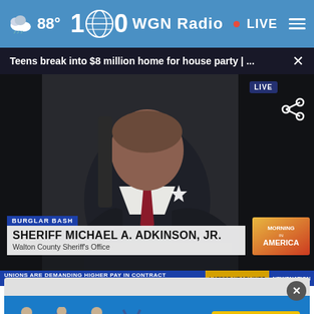88° WGN Radio · LIVE
Teens break into $8 million home for house party | ...
[Figure (screenshot): News broadcast screenshot showing Sheriff Michael A. Adkinson Jr. of Walton County Sheriff's Office speaking at a desk in a suit and red tie with a star badge. Lower third displays 'BURGLAR BASH' label and name plate. NewsNation Morning in America branding visible. Bottom ticker reads 'UNIONS ARE DEMANDING HIGHER PAY IN CONTRACT NEGOTIATIONS'.]
[Figure (screenshot): NHTSA 'The Right Seat' car seat safety advertisement on a blue background with child seat safety icons.]